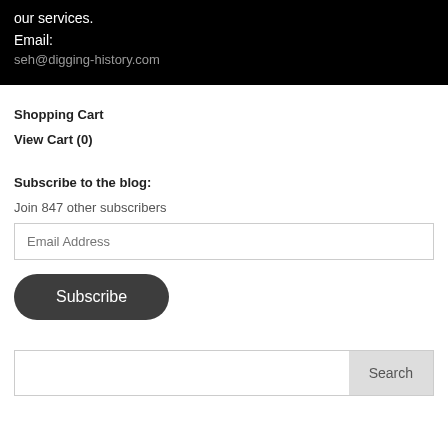our services.
Email:
seh@digging-history.com
Shopping Cart
View Cart (0)
Subscribe to the blog:
Join 847 other subscribers
Email Address
Subscribe
Search